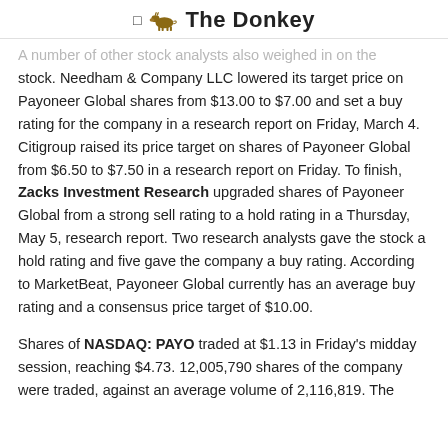The Donkey
A number of other stock analysts also weighed in on the stock. Needham & Company LLC lowered its target price on Payoneer Global shares from $13.00 to $7.00 and set a buy rating for the company in a research report on Friday, March 4. Citigroup raised its price target on shares of Payoneer Global from $6.50 to $7.50 in a research report on Friday. To finish, Zacks Investment Research upgraded shares of Payoneer Global from a strong sell rating to a hold rating in a Thursday, May 5, research report. Two research analysts gave the stock a hold rating and five gave the company a buy rating. According to MarketBeat, Payoneer Global currently has an average buy rating and a consensus price target of $10.00.
Shares of NASDAQ: PAYO traded at $1.13 in Friday's midday session, reaching $4.73. 12,005,790 shares of the company were traded, against an average volume of 2,116,819. The